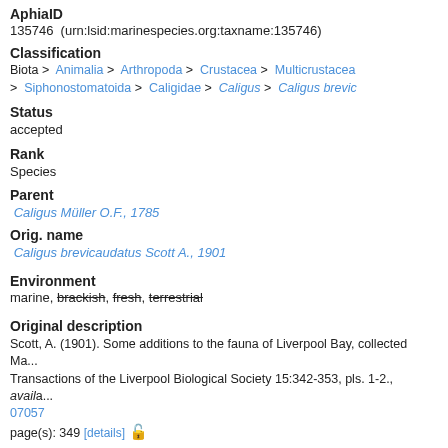AphiaID
135746  (urn:lsid:marinespecies.org:taxname:135746)
Classification
Biota > Animalia > Arthropoda > Crustacea > Multicrustacea > Siphonostomatoida > Caligidae > Caligus > Caligus brevicaudatus
Status
accepted
Rank
Species
Parent
Caligus Müller O.F., 1785
Orig. name
Caligus brevicaudatus Scott A., 1901
Environment
marine, brackish, fresh, terrestrial
Original description
Scott, A. (1901). Some additions to the fauna of Liverpool Bay, collected Ma... Transactions of the Liverpool Biological Society 15:342-353, pls. 1-2., available online at https://doi.org/10.5962/bhl.part.07057
page(s): 349 [details]
Taxonomic citation
Walter, T.C.; Boxshall, G. (2021). World of Copepods database. Caligus bre... M.J.; Bouchet, P.; Boxshall, G.; Arvanitidis, C.; Appeltans, W. (2021) Europe... http://www.marbef.org/data/aphia.php?p=taxdetails&id=135746 on 2022-08